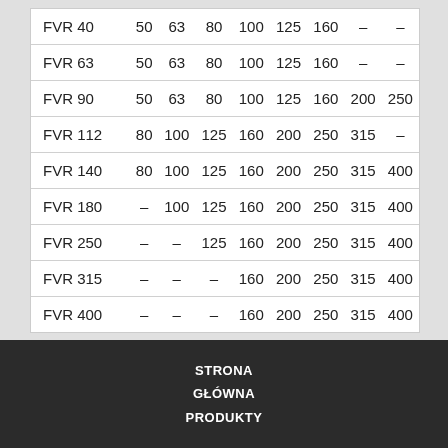| FVR 40 | 50 | 63 | 80 | 100 | 125 | 160 | – | – |
| FVR 63 | 50 | 63 | 80 | 100 | 125 | 160 | – | – |
| FVR 90 | 50 | 63 | 80 | 100 | 125 | 160 | 200 | 250 |
| FVR 112 | 80 | 100 | 125 | 160 | 200 | 250 | 315 | – |
| FVR 140 | 80 | 100 | 125 | 160 | 200 | 250 | 315 | 400 |
| FVR 180 | – | 100 | 125 | 160 | 200 | 250 | 315 | 400 |
| FVR 250 | – | – | 125 | 160 | 200 | 250 | 315 | 400 |
| FVR 315 | – | – | – | 160 | 200 | 250 | 315 | 400 |
| FVR 400 | – | – | – | 160 | 200 | 250 | 315 | 400 |
STRONA GŁÓWNA PRODUKTY